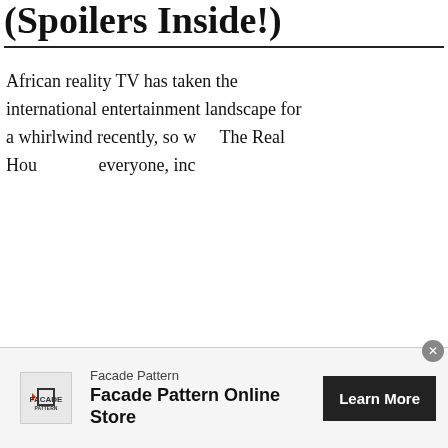(Spoilers Inside!)
African reality TV has taken the international entertainment landscape for a whirlwind recently, so w... The Real Hou... everyone, inc...
CONTINUE
[Figure (photo): Popup card showing a man and woman seated, with text 'Sex 101 With Nivea, The New Host Of \'Asking For A Friend\' - 21Ninety']
Posted On : May 5,
[Figure (infographic): Ad banner for Facade Pattern Online Store with Learn More button]